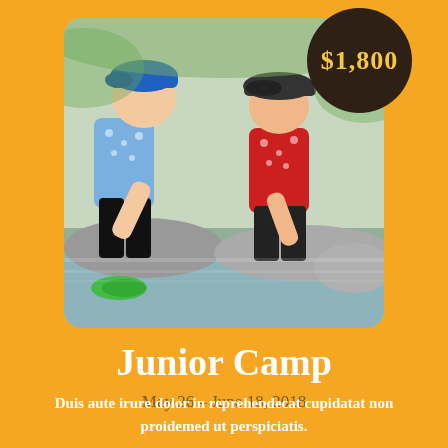[Figure (photo): Two young boys leaning over a shallow water feature/stream, touching the water with their hands. One wears a blue cap and floral shirt, the other a dark flat cap and red floral shirt.]
$1,800
Junior Camp
May 26 – June 18, 2018
Duis aute irure dolor in reprehendecat cupidatat non proidemed ut perspiciatis.